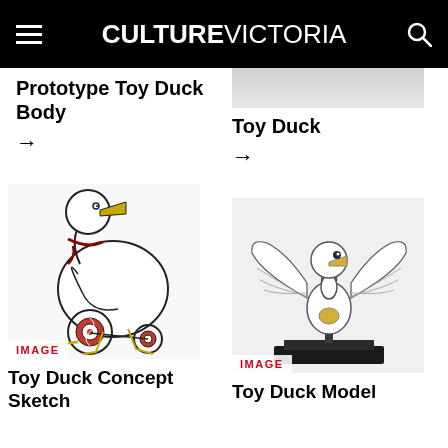CULTURE VICTORIA
Prototype Toy Duck Body
→
Toy Duck
→
[Figure (photo): Toy Duck Concept Sketch illustration showing a duck on wheels with red and white spiral wheels and a yellow beak, ink drawing style]
IMAGE
Toy Duck Concept Sketch
[Figure (photo): Toy Duck Model photograph showing a white duck model with spread wings on a black base]
IMAGE
Toy Duck Model